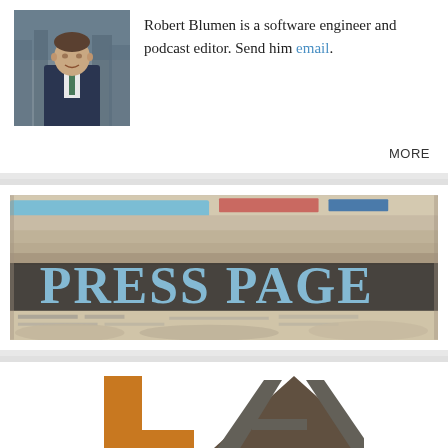[Figure (photo): Headshot photo of Robert Blumen, a man in a suit outdoors with a cityscape background]
Robert Blumen is a software engineer and podcast editor. Send him email.
MORE
[Figure (photo): Stack of newspapers with 'PRESS PAGE' text overlaid in large light blue serif font on a dark semi-transparent banner]
[Figure (logo): LA logo with orange rectangle L shape and dark grey triangle A shape]